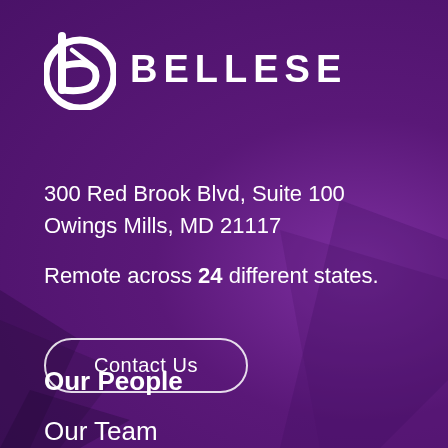[Figure (logo): Bellese company logo: white stylized 'b' letter mark followed by the word BELLESE in bold white uppercase letters]
300 Red Brook Blvd, Suite 100
Owings Mills, MD 21117
Remote across 24 different states.
Contact Us
Our People
Our Team